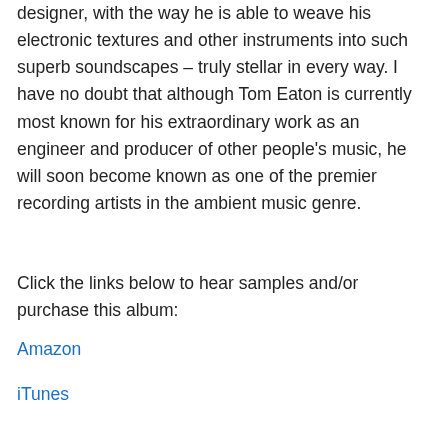designer, with the way he is able to weave his electronic textures and other instruments into such superb soundscapes – truly stellar in every way. I have no doubt that although Tom Eaton is currently most known for his extraordinary work as an engineer and producer of other people's music, he will soon become known as one of the premier recording artists in the ambient music genre.
Click the links below to hear samples and/or purchase this album:
Amazon
iTunes